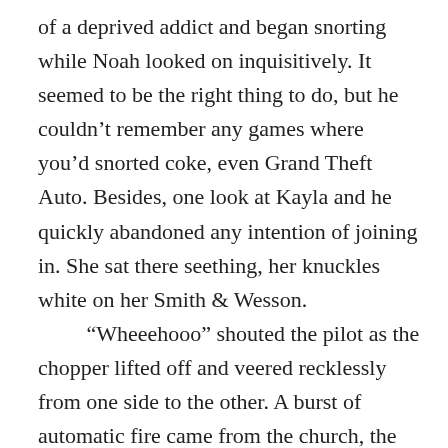of a deprived addict and began snorting while Noah looked on inquisitively. It seemed to be the right thing to do, but he couldn't remember any games where you'd snorted coke, even Grand Theft Auto. Besides, one look at Kayla and he quickly abandoned any intention of joining in. She sat there seething, her knuckles white on her Smith & Wesson.
“Wheeehooo” shouted the pilot as the chopper lifted off and veered recklessly from one side to the other. A burst of automatic fire came from the church, the metallic clanging of bullets ripping into the chopper.
“Put a rocket up their asses,” shouted the gangster. Noah looked to the front of the chopper in disbelief. He held up his hands in protest,
“It’s a Church.”
It was too late. The pilot, hit a button on the joystick, the church door caved in and the building shook with an